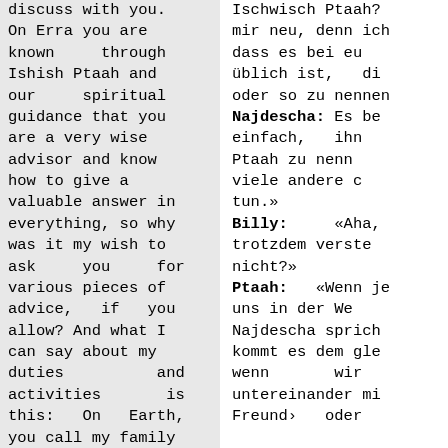discuss with you. On Erra you are known through Ishish Ptaah and our spiritual guidance that you are a very wise advisor and know how to give a valuable answer in everything, so why was it my wish to ask you for various pieces of advice, if you allow? And what I can say about my duties and activities is this: On Earth, you call my family
Ischwisch Ptaah? mir neu, denn ich dass es bei eu üblich ist, di oder so zu nennen Najdescha: Es be einfach, ihn Ptaah zu nenn viele andere c tun.» Billy: «Aha, trotzdem verste nicht?» Ptaah: «Wenn je uns in der We Najdescha sprich kommt es dem gle wenn wir untereinander mi Freund› oder